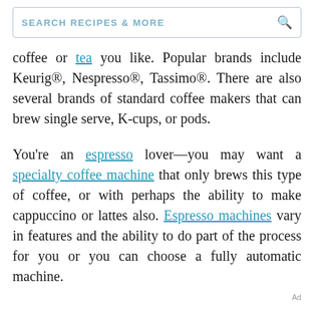SEARCH RECIPES & MORE
coffee or tea you like. Popular brands include Keurig®, Nespresso®, Tassimo®. There are also several brands of standard coffee makers that can brew single serve, K-cups, or pods.
You're an espresso lover—you may want a specialty coffee machine that only brews this type of coffee, or with perhaps the ability to make cappuccino or lattes also. Espresso machines vary in features and the ability to do part of the process for you or you can choose a fully automatic machine.